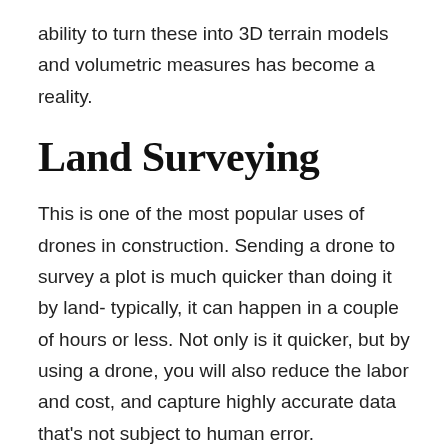ability to turn these into 3D terrain models and volumetric measures has become a reality.
Land Surveying
This is one of the most popular uses of drones in construction. Sending a drone to survey a plot is much quicker than doing it by land- typically, it can happen in a couple of hours or less. Not only is it quicker, but by using a drone, you will also reduce the labor and cost, and capture highly accurate data that's not subject to human error.
Surveying the land by drones is also an excellent way to help in the bidding process. Spend less time and